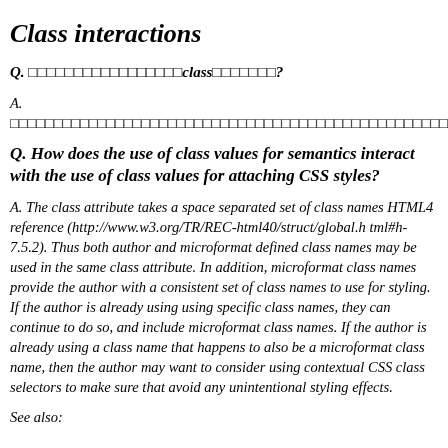Class interactions
Q.                 class       ?
A.
Q. How does the use of class values for semantics interact with the use of class values for attaching CSS styles?
A. The class attribute takes a space separated set of class names HTML4 reference (http://www.w3.org/TR/REC-html40/struct/global.html#h-7.5.2). Thus both author and microformat defined class names may be used in the same class attribute. In addition, microformat class names provide the author with a consistent set of class names to use for styling. If the author is already using using specific class names, they can continue to do so, and include microformat class names. If the author is already using a class name that happens to also be a microformat class name, then the author may want to consider using contextual CSS class selectors to make sure that avoid any unintentional styling effects.
See also: